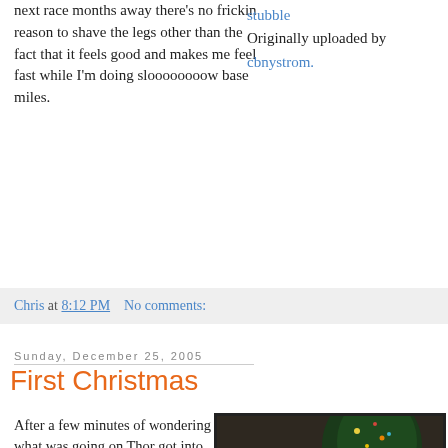next race months away there's no frickin reason to shave the legs other than the fact that it feels good and makes me feel fast while I'm doing sloooooooow base miles.
stubble
Originally uploaded by cbnystrom.
Chris at 8:12 PM   No comments:
Sunday, December 25, 2005
First Christmas
After a few minutes of wondering what was going on Thor got into the spirit and had fun playing with the wrapping paper and his new wiffle balls. We'll bust out his new bath toys and bubbles
[Figure (photo): Baby sitting in a white armchair with Christmas toys and stocking, Christmas tree visible in background]